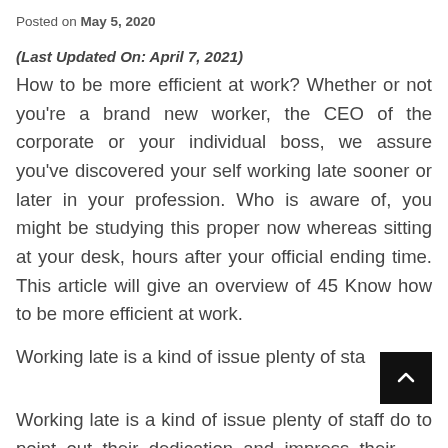Posted on May 5, 2020
(Last Updated On: April 7, 2021)
How to be more efficient at work? Whether or not you're a brand new worker, the CEO of the corporate or your individual boss, we assure you've discovered your self working late sooner or later in your profession. Who is aware of, you might be studying this proper now whereas sitting at your desk, hours after your official ending time. This article will give an overview of 45 Know how to be more efficient at work.
Working late is a kind of issue plenty of staff do to point out their dedication and impress their